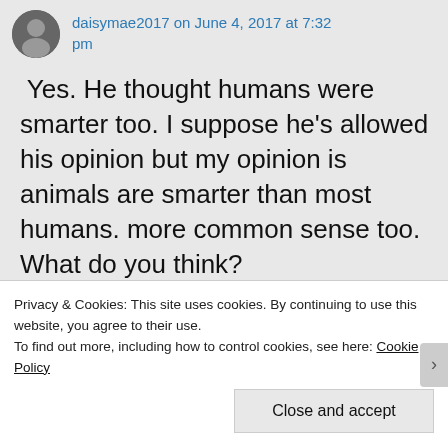daisymae2017 on June 4, 2017 at 7:32 pm
Yes. He thought humans were smarter too. I suppose he's allowed his opinion but my opinion is animals are smarter than most humans. more common sense too. What do you think?
Liked by 1 person
Reply
Privacy & Cookies: This site uses cookies. By continuing to use this website, you agree to their use.
To find out more, including how to control cookies, see here: Cookie Policy
Close and accept